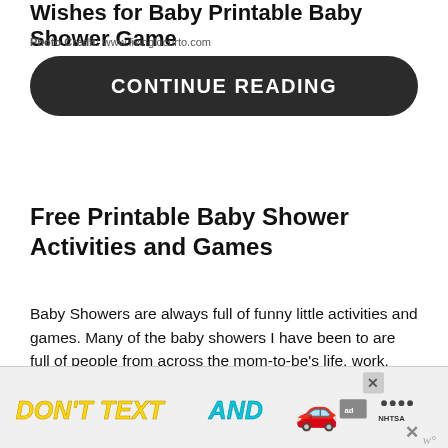Wishes for Baby Printable Baby Shower Game
Photo Credit: www.livinglocurto.com
CONTINUE READING
Free Printable Baby Shower Activities and Games
Baby Showers are always full of funny little activities and games. Many of the baby showers I have been to are full of people from across the mom-to-be's life, work, family, friends. Setting up activities and games are a great way to get guests talking and break the ice between strangers. These printables will give you more than enough materials to keep everyone entertained.
[Figure (other): Advertisement banner: DON'T TEXT AND [car emoji] graphic with ad badge and NHTSA logo]